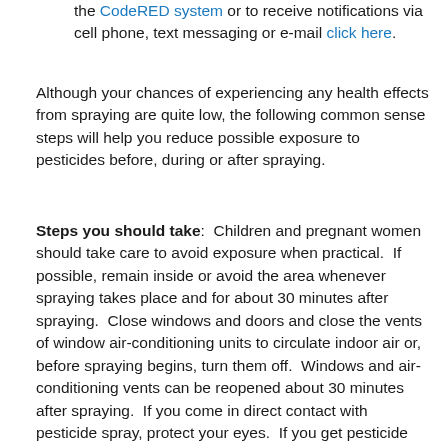the CodeRED system or to receive notifications via cell phone, text messaging or e-mail click here.
Although your chances of experiencing any health effects from spraying are quite low, the following common sense steps will help you reduce possible exposure to pesticides before, during or after spraying.
Steps you should take: Children and pregnant women should take care to avoid exposure when practical. If possible, remain inside or avoid the area whenever spraying takes place and for about 30 minutes after spraying. Close windows and doors and close the vents of window air-conditioning units to circulate indoor air or, before spraying begins, turn them off. Windows and air-conditioning vents can be reopened about 30 minutes after spraying. If you come in direct contact with pesticide spray, protect your eyes. If you get pesticide spray in your eyes, immediately rinse them with water. Wash exposed skin. Wash clothes that come in direct contact with any spray and before